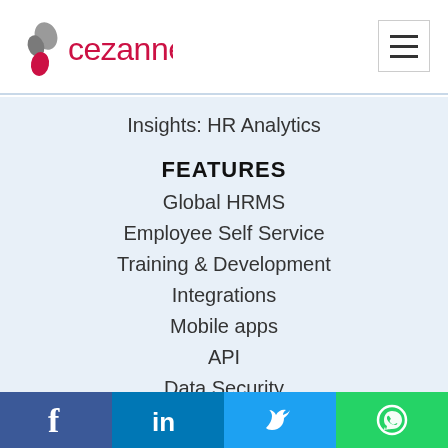[Figure (logo): Cezanne HR logo with stylized grey and red teardrop/leaf icon and 'cezanne' text in red]
Insights: HR Analytics
FEATURES
Global HRMS
Employee Self Service
Training & Development
Integrations
Mobile apps
API
Data Security
GDPR
SERVICES
[Figure (infographic): Social media bar with Facebook, LinkedIn, Twitter, and WhatsApp icons]